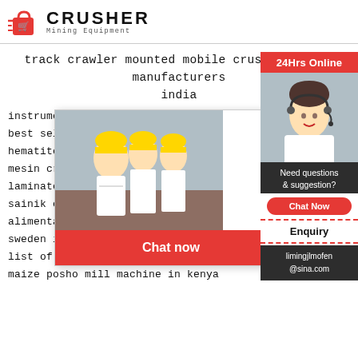[Figure (logo): Crusher Mining Equipment logo with red shopping bag icon and bold CRUSHER text]
track crawler mounted mobile crusher plants manufacturers india
instrument used in copper mining
best seller ha...
hematite ore...
mesin crushe...
laminate crus...
sainik coal mining pvt ltd
alimentadores vibratorios argentina
sweden invest in coal mine
list of mining industries in abuja
maize posho mill machine in kenya
[Figure (screenshot): Live chat popup overlay with workers image, LIVE CHAT text, Click for a Free Consultation, Chat now and Chat later buttons]
[Figure (screenshot): Right sidebar with 24Hrs Online label, agent photo, Need questions & suggestion? text, Chat Now button, Enquiry section, limingjlmofen@sina.com email]